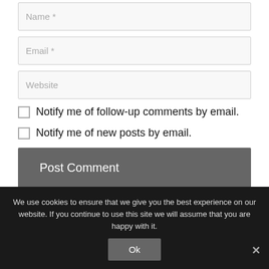Name *
Email *
Website
Notify me of follow-up comments by email.
Notify me of new posts by email.
Post Comment
We use cookies to ensure that we give you the best experience on our website. If you continue to use this site we will assume that you are happy with it.
Ok